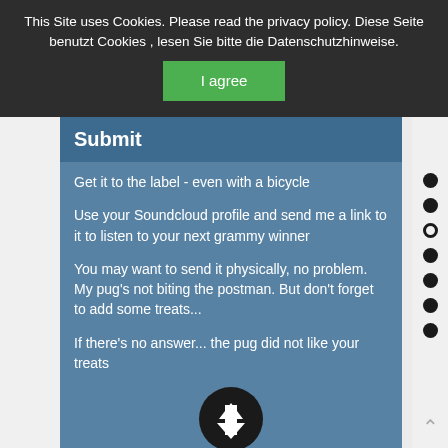This Site uses Cookies. Please read the privacy policy. Diese Seite benutzt Cookies , lesen Sie bitte die Datenschutzhinweise.
I agree
Submit
Get it to the label - even with a bicycle
Use your Soundcloud profile and send me a link to it to listen to your next grammy winner
You may want to send it physically, no problem. My pug's not biting the postman. But don't forget to add some treats...
If there's no answer... the pug did not like your treats
[Figure (illustration): Dark circular download/scroll-down arrow button icon]